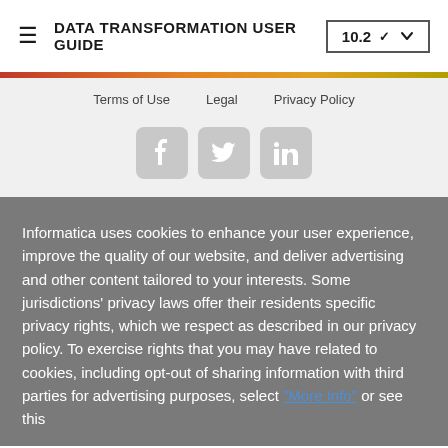DATA TRANSFORMATION USER GUIDE 10.2
Terms of Use   Legal   Privacy Policy
[Figure (illustration): Social media icons: Facebook, Twitter, LinkedIn in gray rounded square buttons]
Informatica uses cookies to enhance your user experience, improve the quality of our website, and deliver advertising and other content tailored to your interests. Some jurisdictions' privacy laws offer their residents specific privacy rights, which we respect as described in our privacy policy. To exercise rights that you may have related to cookies, including opt-out of sharing information with third parties for advertising purposes, select "More Info" or see this